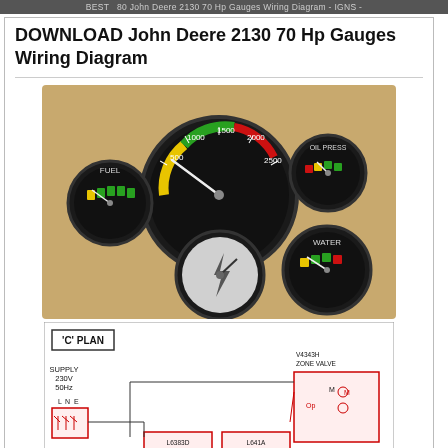BEST 80 John Deere 2130 70 Hp Gauges Wiring Diagram - IGNS -
DOWNLOAD John Deere 2130 70 Hp Gauges Wiring Diagram
[Figure (photo): Photo of five John Deere tractor gauges: a large tachometer/RPM gauge (center top, showing 500-2500 RPM range with yellow and green colored bands), a fuel gauge (left), an oil pressure gauge (right top), a water temperature gauge (right bottom), and an ammeter/electrical gauge (bottom left), all with black bezels on a tan background.]
[Figure (engineering-diagram): Partial wiring diagram labeled 'C' PLAN' showing electrical schematic with components including Supply 230V 50Hz, Zone Valve V4343H, L6383D Room Stat, L641A Cylinder Stat, and associated wiring connections with red highlighted components.]